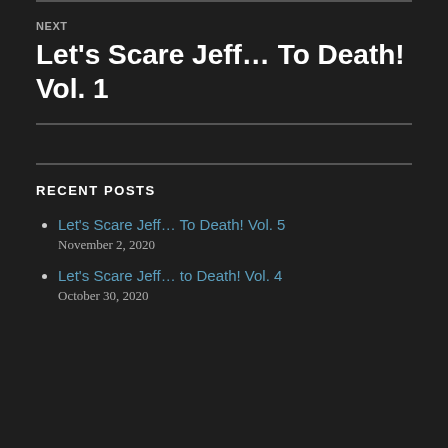NEXT
Let's Scare Jeff… To Death! Vol. 1
RECENT POSTS
Let's Scare Jeff… To Death! Vol. 5
November 2, 2020
Let's Scare Jeff… to Death! Vol. 4
October 30, 2020